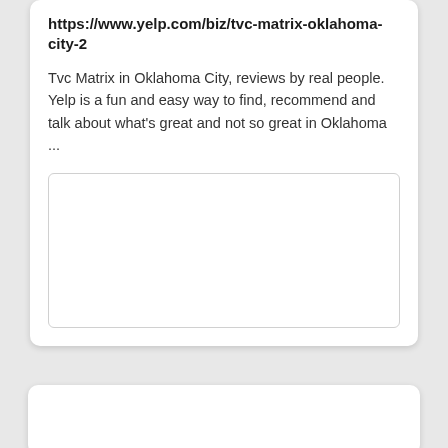https://www.yelp.com/biz/tvc-matrix-oklahoma-city-2
Tvc Matrix in Oklahoma City, reviews by real people. Yelp is a fun and easy way to find, recommend and talk about what's great and not so great in Oklahoma ...
[Figure (other): Empty white image placeholder box with border]
[Figure (other): Empty white card section at bottom, partially visible]